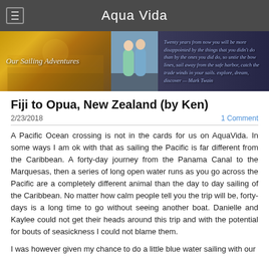Aqua Vida
[Figure (photo): Website banner with three panels: left panel shows 'Our Sailing Adventures' text over a golden sunset ocean background, center panel shows a couple standing on a boat, right panel shows a dark blue background with an inspirational quote in italic script.]
Fiji to Opua, New Zealand (by Ken)
2/23/2018    1 Comment
A Pacific Ocean crossing is not in the cards for us on AquaVida. In some ways I am ok with that as sailing the Pacific is far different from the Caribbean. A forty-day journey from the Panama Canal to the Marquesas, then a series of long open water runs as you go across the Pacific are a completely different animal than the day to day sailing of the Caribbean. No matter how calm people tell you the trip will be, forty-days is a long time to go without seeing another boat. Danielle and Kaylee could not get their heads around this trip and with the potential for bouts of seasickness I could not blame them.
I was however given my chance to do a little blue water sailing with our